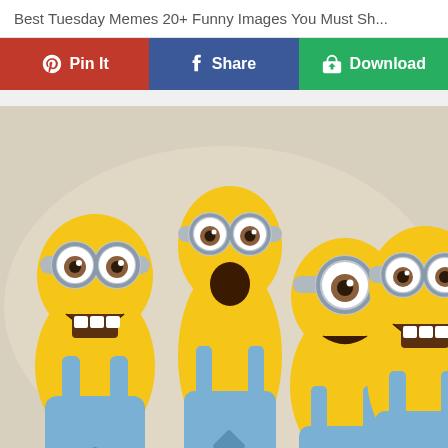Best Tuesday Memes 20+ Funny Images You Must Sh...
Pin It | Share | Download
[Figure (photo): Four animated Minion characters from the Despicable Me franchise standing together, mouths open in shock/surprise expressions, wearing their signature blue denim overalls and silver goggles. One minion holds a rainbow-colored candy. Background is a light beige/cream color.]